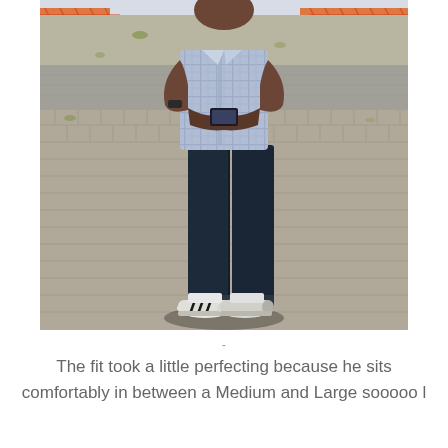[Figure (photo): A man wearing a blue plaid shirt and dark jeans with white Adidas sneakers, standing on a brick/cobblestone pavement outdoor area with orange construction fencing visible in the background.]
-
The fit took a little perfecting because he sits comfortably in between a Medium and Large sooooo l